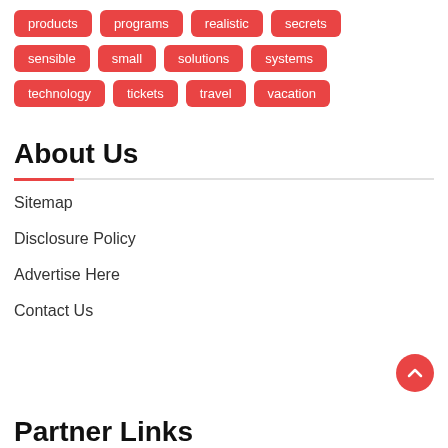products
programs
realistic
secrets
sensible
small
solutions
systems
technology
tickets
travel
vacation
About Us
Sitemap
Disclosure Policy
Advertise Here
Contact Us
Partner Links